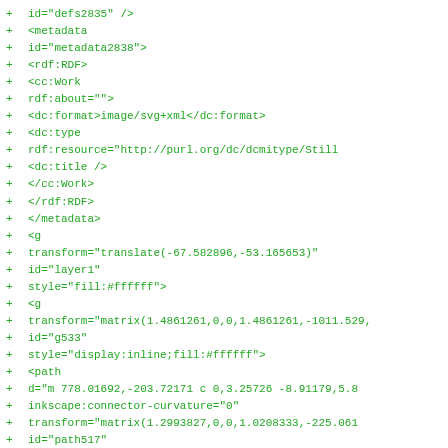Diff/code listing showing SVG XML content with + markers, including defs, metadata, rdf:RDF, cc:Work, dc:format, dc:type, dc:title, /cc:Work, /rdf:RDF, /metadata, g transform, id, style, path elements with various attributes